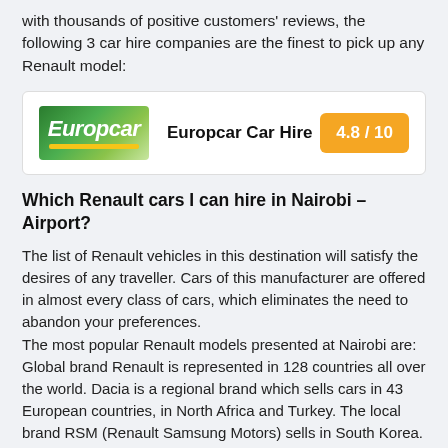with thousands of positive customers' reviews, the following 3 car hire companies are the finest to pick up any Renault model:
[Figure (logo): Europcar logo — green background with white italic bold text 'Europcar' and yellow underline stripe]
Europcar Car Hire
4.8 / 10
Which Renault cars I can hire in Nairobi – Airport?
The list of Renault vehicles in this destination will satisfy the desires of any traveller. Cars of this manufacturer are offered in almost every class of cars, which eliminates the need to abandon your preferences.
The most popular Renault models presented at Nairobi are: Global brand Renault is represented in 128 countries all over the world. Dacia is a regional brand which sells cars in 43 European countries, in North Africa and Turkey. The local brand RSM (Renault Samsung Motors) sells in South Korea. 3 famous brands and 40 models for drivers, business users, sportspeople and millions of consumers – that's Renault!